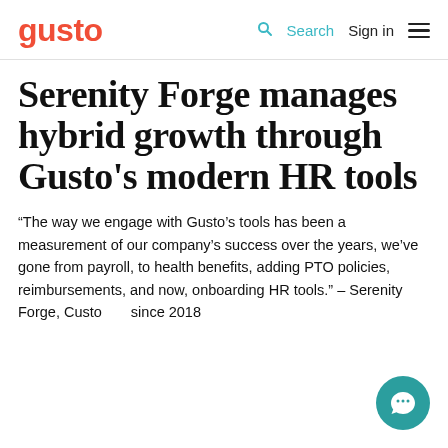gusto  Search  Sign in
Serenity Forge manages hybrid growth through Gusto's modern HR tools
“The way we engage with Gusto’s tools has been a measurement of our company’s success over the years, we’ve gone from payroll, to health benefits, adding PTO policies, reimbursements, and now, onboarding HR tools.” – Serenity Forge, Customer since 2018